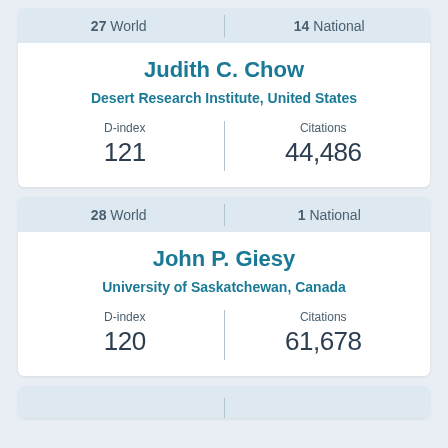27 World | 14 National
Judith C. Chow
Desert Research Institute, United States
D-index 121 | Citations 44,486
28 World | 1 National
John P. Giesy
University of Saskatchewan, Canada
D-index 120 | Citations 61,678